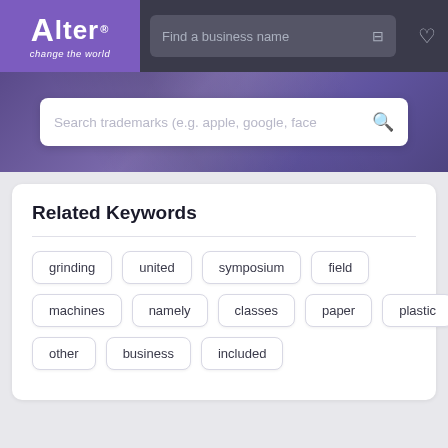[Figure (logo): Alter logo with text 'Alter' and tagline 'change the world' on purple background]
Find a business name
Search trademarks (e.g. apple, google, face
Related Keywords
grinding
united
symposium
field
machines
namely
classes
paper
plastic
other
business
included